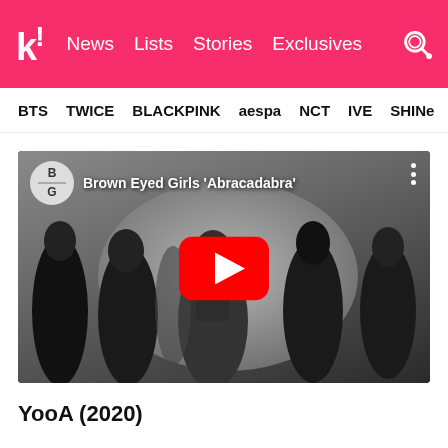k! News Lists Stories Exclusives
BTS TWICE BLACKPINK aespa NCT IVE SHINee
[Figure (screenshot): YouTube video thumbnail for Brown Eyed Girls 'Abracadabra' music video, showing multiple female dancers in black outfits, with a YouTube play button overlay and BG channel avatar in top left corner.]
YooA (2020)